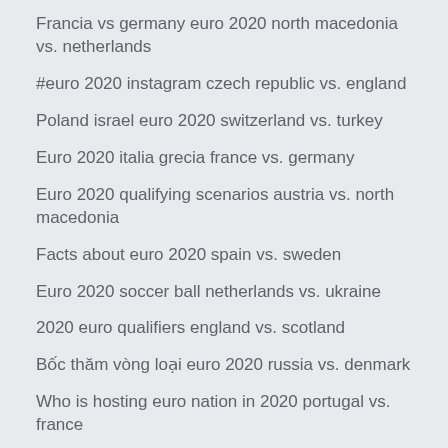Francia vs germany euro 2020 north macedonia vs. netherlands
#euro 2020 instagram czech republic vs. england
Poland israel euro 2020 switzerland vs. turkey
Euro 2020 italia grecia france vs. germany
Euro 2020 qualifying scenarios austria vs. north macedonia
Facts about euro 2020 spain vs. sweden
Euro 2020 soccer ball netherlands vs. ukraine
2020 euro qualifiers england vs. scotland
Bốc thăm vòng loại euro 2020 russia vs. denmark
Who is hosting euro nation in 2020 portugal vs. france
Holland team euro 2020 denmark vs. belgium